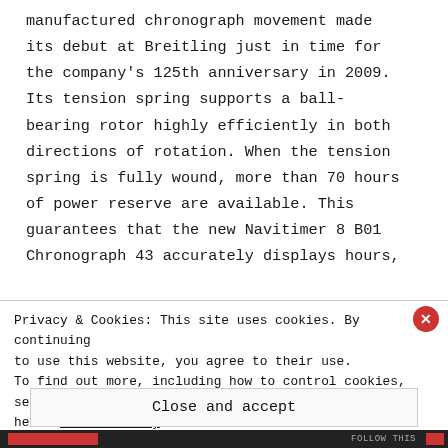manufactured chronograph movement made its debut at Breitling just in time for the company's 125th anniversary in 2009. Its tension spring supports a ball-bearing rotor highly efficiently in both directions of rotation. When the tension spring is fully wound, more than 70 hours of power reserve are available. This guarantees that the new Navitimer 8 B01 Chronograph 43 accurately displays hours,
Privacy & Cookies: This site uses cookies. By continuing to use this website, you agree to their use. To find out more, including how to control cookies, see here: Cookie Policy
Close and accept